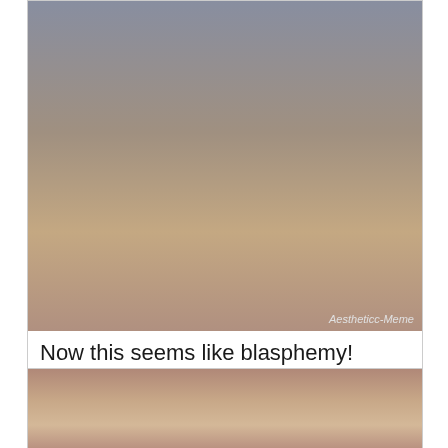[Figure (illustration): Anime-style illustration watermarked 'Aestheticc-Meme', showing two anime characters in an intimate pose against a gray background.]
Now this seems like blasphemy! (Aestheticc-Meme)
#reddit #RWBYNSFW #drawing
[Figure (illustration): Anime-style illustration showing multiple anime characters in a group intimate scene against a warm brown/tan background.]